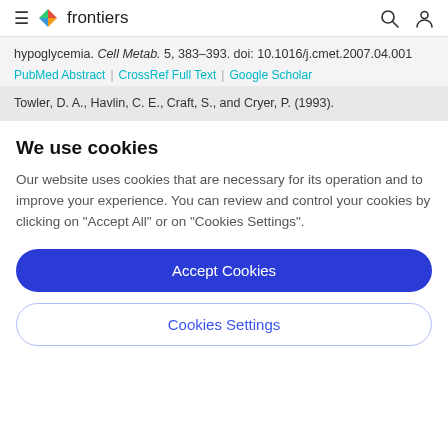frontiers
hypoglycemia. Cell Metab. 5, 383–393. doi: 10.1016/j.cmet.2007.04.001
PubMed Abstract | CrossRef Full Text | Google Scholar
Towler, D. A., Havlin, C. E., Craft, S., and Cryer, P. (1993).
We use cookies
Our website uses cookies that are necessary for its operation and to improve your experience. You can review and control your cookies by clicking on "Accept All" or on "Cookies Settings".
Accept Cookies
Cookies Settings